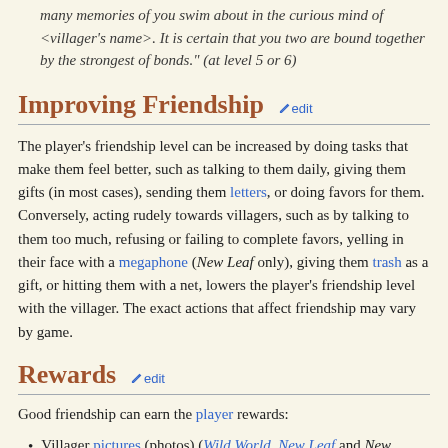many memories of you swim about in the curious mind of <villager's name>. It is certain that you two are bound together by the strongest of bonds." (at level 5 or 6)
Improving Friendship
The player's friendship level can be increased by doing tasks that make them feel better, such as talking to them daily, giving them gifts (in most cases), sending them letters, or doing favors for them. Conversely, acting rudely towards villagers, such as by talking to them too much, refusing or failing to complete favors, yelling in their face with a megaphone (New Leaf only), giving them trash as a gift, or hitting them with a net, lowers the player's friendship level with the villager. The exact actions that affect friendship may vary by game.
Rewards
Good friendship can earn the player rewards:
Villager pictures (photos) (Wild World, New Leaf and New